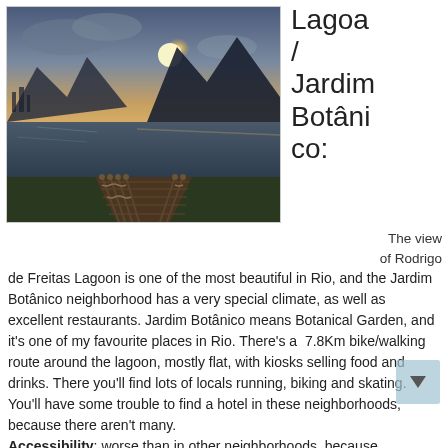[Figure (photo): Sunset view of Rodrigo de Freitas Lagoon with a wooden pier/boardwalk extending into the water, mountains silhouetted in the background, dramatic sky with sun setting behind peaks, fence posts with rope along the pier]
Lagoa / Jardim Botânico:
The view of Rodrigo de Freitas Lagoon is one of the most beautiful in Rio, and the Jardim Botânico neighborhood has a very special climate, as well as excellent restaurants. Jardim Botânico means Botanical Garden, and it's one of my favourite places in Rio. There's a  7.8Km bike/walking route around the lagoon, mostly flat, with kiosks selling food and drinks. There you'll find lots of locals running, biking and skating. You'll have some trouble to find a hotel in these neighborhoods, because there aren't many.
Accessibility: worse than in other neighborhoods, because